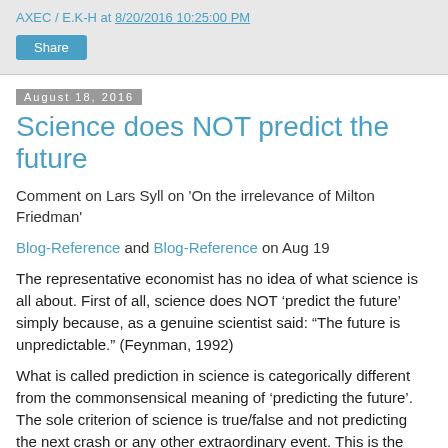AXEC / E.K-H at 8/20/2016 10:25:00 PM
Share
August 18, 2016
Science does NOT predict the future
Comment on Lars Syll on 'On the irrelevance of Milton Friedman'
Blog-Reference and Blog-Reference on Aug 19
The representative economist has no idea of what science is all about. First of all, science does NOT ‘predict the future’ simply because, as a genuine scientist said: “The future is unpredictable.” (Feynman, 1992)
What is called prediction in science is categorically different from the commonsensical meaning of ‘predicting the future’. The sole criterion of science is true/false and not predicting the next crash or any other extraordinary event. This is the